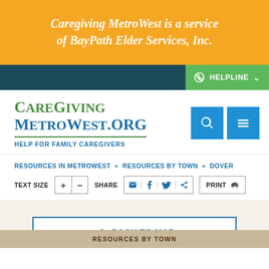Caregiving MetroWest is a service of BayPath Elder Services, Inc.
HELPLINE
[Figure (logo): CareGiving MetroWest.org logo with tagline HELP FOR FAMILY CAREGIVERS, plus search and menu buttons]
RESOURCES IN METROWEST » RESOURCES BY TOWN » DOVER
TEXT SIZE  +  -   SHARE  [email] [f] [twitter] [share]   PRINT
BACK TO MAP
RESOURCES BY TOWN